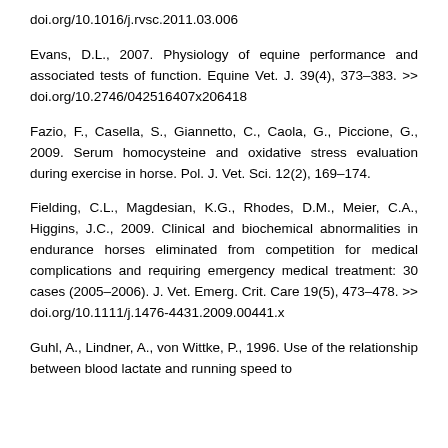doi.org/10.1016/j.rvsc.2011.03.006
Evans, D.L., 2007. Physiology of equine performance and associated tests of function. Equine Vet. J. 39(4), 373–383. >> doi.org/10.2746/042516407x206418
Fazio, F., Casella, S., Giannetto, C., Caola, G., Piccione, G., 2009. Serum homocysteine and oxidative stress evaluation during exercise in horse. Pol. J. Vet. Sci. 12(2), 169–174.
Fielding, C.L., Magdesian, K.G., Rhodes, D.M., Meier, C.A., Higgins, J.C., 2009. Clinical and biochemical abnormalities in endurance horses eliminated from competition for medical complications and requiring emergency medical treatment: 30 cases (2005–2006). J. Vet. Emerg. Crit. Care 19(5), 473–478. >> doi.org/10.1111/j.1476-4431.2009.00441.x
Guhl, A., Lindner, A., von Wittke, P., 1996. Use of the relationship between blood lactate and running speed to